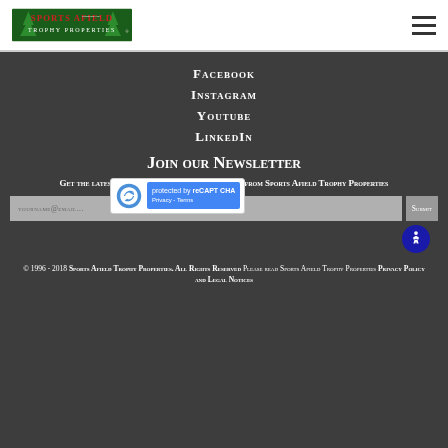Sports Afield Trophy Properties
Facebook
Instagram
Youtube
LinkedIn
Join our Newsletter
Get the latest updates and new property listings from Sports Afield Trophy Properties
yourname@email...
[Figure (other): reCAPTCHA widget with logo and 'protected by reCAPTCHA' text on blue background]
[Figure (other): Accessibility icon button (wheelchair symbol) on dark blue circular background]
© 1996 - 2018 Sports Afield Trophy Properties. All Rights Reserved Please read Sports Afield Trophy Properties Privacy Policy and Legal Notices